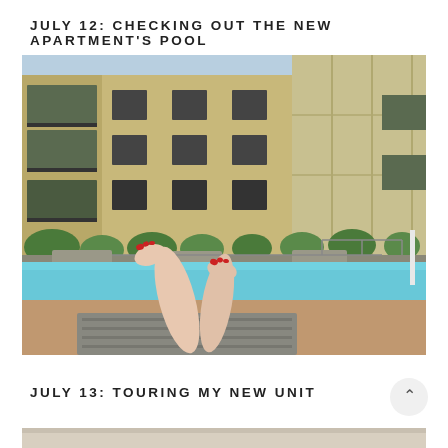JULY 12: CHECKING OUT THE NEW APARTMENT'S POOL
[Figure (photo): Photo of a person relaxing on a pool lounge chair with feet raised, red toenails visible, overlooking a large outdoor swimming pool with a brick apartment building in the background and trees/shrubs around the pool deck.]
JULY 13: TOURING MY NEW UNIT
[Figure (photo): Partial view of the next photo section showing a light-colored interior or surface, cropped at bottom of page.]